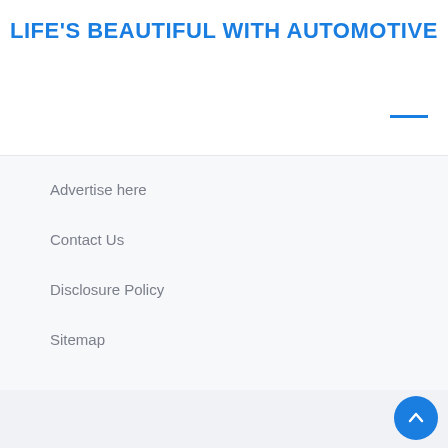LIFE'S BEAUTIFUL WITH AUTOMOTIVE
Advertise here
Contact Us
Disclosure Policy
Sitemap
September 2022